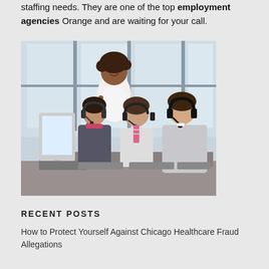staffing needs. They are one of the top employment agencies Orange and are waiting for your call.
[Figure (photo): Office call center scene with four people: a curly-haired woman standing and leaning over, and three colleagues seated at computer workstations wearing telephone headsets. Bright office environment with large windows in the background.]
RECENT POSTS
How to Protect Yourself Against Chicago Healthcare Fraud Allegations